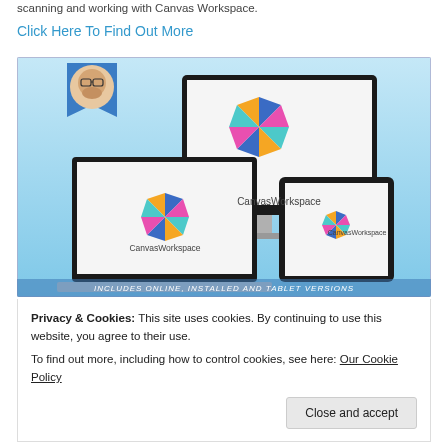scanning and working with Canvas Workspace.
Click Here To Find Out More
[Figure (screenshot): Canvas Workspace promotional image showing a desktop monitor, laptop, and tablet all displaying the CanvasWorkspace logo (a colorful geometric pinwheel). Blue gradient background. Text at bottom: INCLUDES ONLINE, INSTALLED AND TABLET VERSIONS. A small circular avatar of a bearded man appears in the top-left corner on a blue ribbon banner.]
Privacy & Cookies: This site uses cookies. By continuing to use this website, you agree to their use.
To find out more, including how to control cookies, see here: Our Cookie Policy
Close and accept